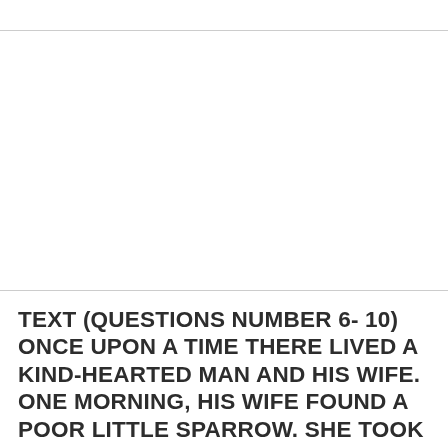TEXT (QUESTIONS NUMBER 6- 10) ONCE UPON A TIME THERE LIVED A KIND-HEARTED MAN AND HIS WIFE. ONE MORNING, HIS WIFE FOUND A POOR LITTLE SPARROW. SHE TOOK IT GENTLY AND FED